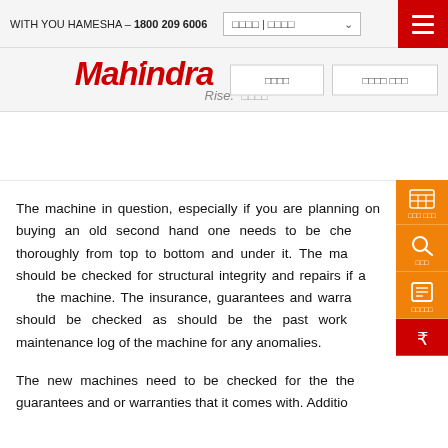WITH YOU HAMESHA – 1800 209 6006
[Figure (logo): Mahindra Rise logo in red italic bold text with Rise tagline below]
The machine in question, especially if you are planning on buying an old second hand one needs to be checked thoroughly from top to bottom and under it. The machine should be checked for structural integrity and repairs if any on the machine. The insurance, guarantees and warranties should be checked as should be the past work and maintenance log of the machine for any anomalies.
The new machines need to be checked for the the guarantees and or warranties that it comes with. Additio...